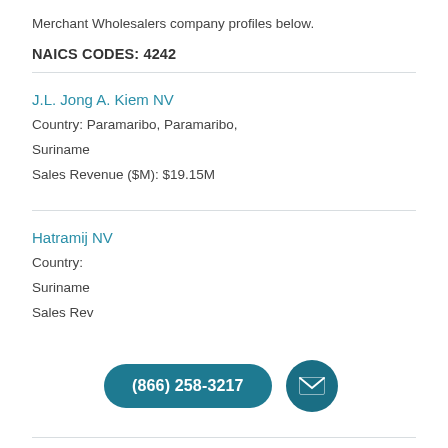Merchant Wholesalers company profiles below.
NAICS CODES: 4242
J.L. Jong A. Kiem NV
Country: Paramaribo, Paramaribo, Suriname
Sales Revenue ($M): $19.15M
Hatramij NV
Country:
Suriname
Sales Revenue ($M):